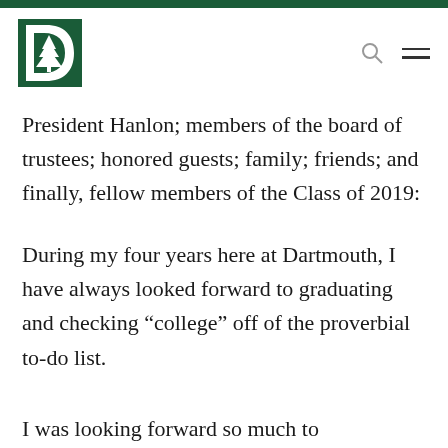[Figure (logo): Dartmouth College logo: green letter D with white pine tree inside]
President Hanlon; members of the board of trustees; honored guests; family; friends; and finally, fellow members of the Class of 2019:
During my four years here at Dartmouth, I have always looked forward to graduating and checking “college” off of the proverbial to-do list.
I was looking forward so much to